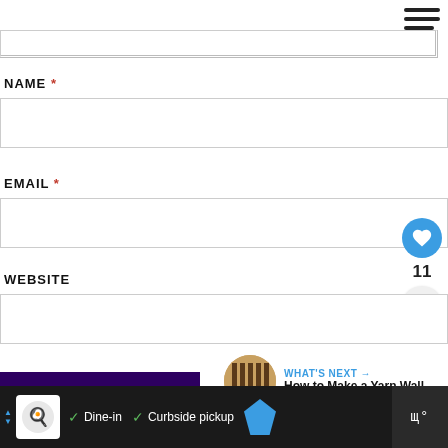[Figure (screenshot): Hamburger menu icon (three horizontal lines) in top right corner]
NAME *
EMAIL *
WEBSITE
11
POST COMMENT
WHAT'S NEXT → How to Make a Yarn Wall...
Dine-in  ✓  Curbside pickup